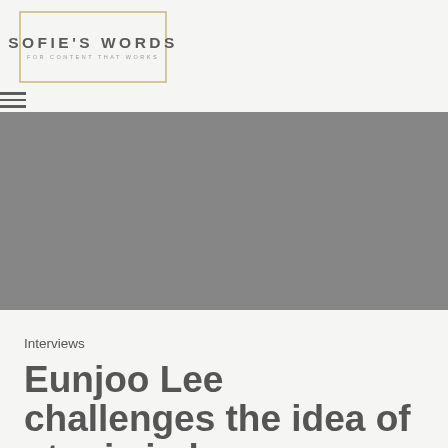SOFIE'S WORDS — FOR CONTENT THAT WORKS
[Figure (photo): Gray rectangular hero image placeholder for article]
Interviews
Eunjoo Lee challenges the idea of utopia in her